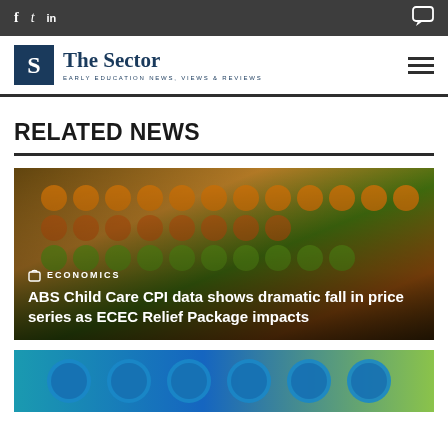f  t  in  [chat icon]
[Figure (logo): The Sector logo — blue S icon with 'The Sector' wordmark and subtitle 'EARLY EDUCATION NEWS, VIEWS & REVIEWS']
RELATED NEWS
[Figure (photo): Child using colorful abacus with orange and green beads, overlaid with category label 'ECONOMICS' and headline 'ABS Child Care CPI data shows dramatic fall in price series as ECEC Relief Package impacts']
[Figure (photo): Partial view of blue counting/learning toy beads — second related news article image, cropped at bottom of page]